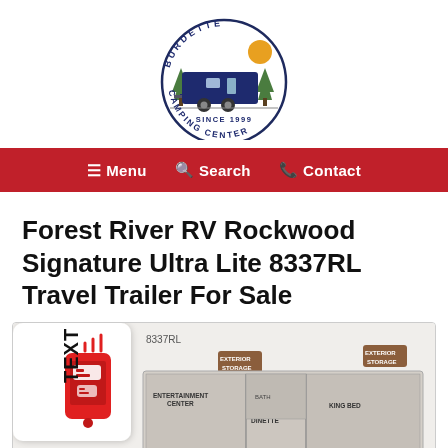[Figure (logo): Burdette Camping Center logo — circular badge with dark blue RV/camper trailer, pine trees, yellow sun, text 'BURDETTE CAMPING CENTER SINCE 1999']
≡ Menu  🔍 Search  📞 Contact
Forest River RV Rockwood Signature Ultra Lite 8337RL Travel Trailer For Sale
[Figure (schematic): Floor plan diagram of Rockwood 8337RL travel trailer showing interior layout with labeled rooms and furniture. Includes bedroom, bathroom, kitchen, entertainment center, and living areas. Model number '8337RL' shown at top left with brown label tags for storage and other features.]